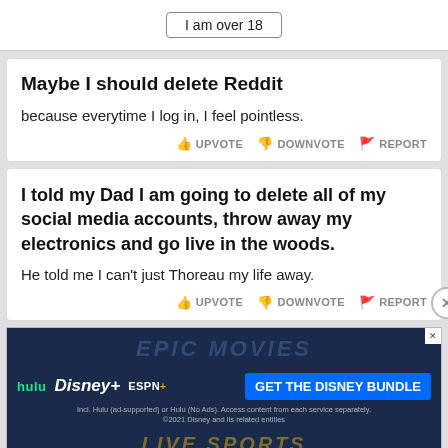[Figure (screenshot): Age verification button reading 'I am over 18']
Maybe I should delete Reddit
because everytime I log in, I feel pointless.
UPVOTE   DOWNVOTE   REPORT
I told my Dad I am going to delete all of my social media accounts, throw away my electronics and go live in the woods.
He told me I can't just Thoreau my life away.
UPVOTE   DOWNVOTE   REPORT
[Figure (screenshot): Disney Bundle advertisement showing Hulu, Disney+, ESPN+ logos with 'GET THE DISNEY BUNDLE' button and fine print about Hulu ad-supported options.]